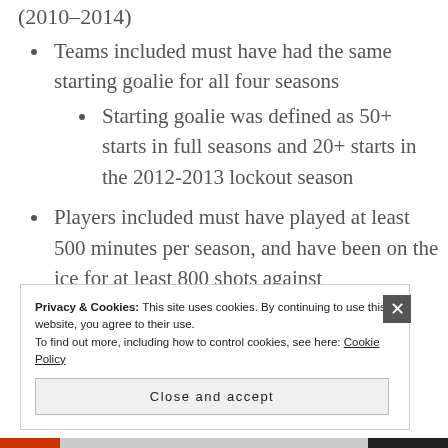(2010-2014)
Teams included must have had the same starting goalie for all four seasons
Starting goalie was defined as 50+ starts in full seasons and 20+ starts in the 2012-2013 lockout season
Players included must have played at least 500 minutes per season, and have been on the ice for at least 800 shots against
Privacy & Cookies: This site uses cookies. By continuing to use this website, you agree to their use.
To find out more, including how to control cookies, see here: Cookie Policy